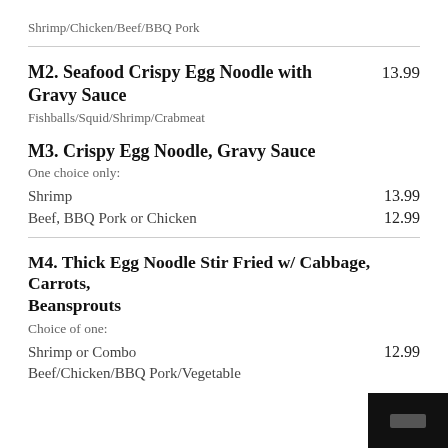Shrimp/Chicken/Beef/BBQ Pork
M2. Seafood Crispy Egg Noodle with Gravy Sauce
13.99
Fishballs/Squid/Shrimp/Crabmeat
M3. Crispy Egg Noodle, Gravy Sauce
One choice only:
Shrimp
13.99
Beef, BBQ Pork or Chicken
12.99
M4. Thick Egg Noodle Stir Fried w/ Cabbage, Carrots, Beansprouts
Choice of one:
Shrimp or Combo
12.99
Beef/Chicken/BBQ Pork/Vegetable